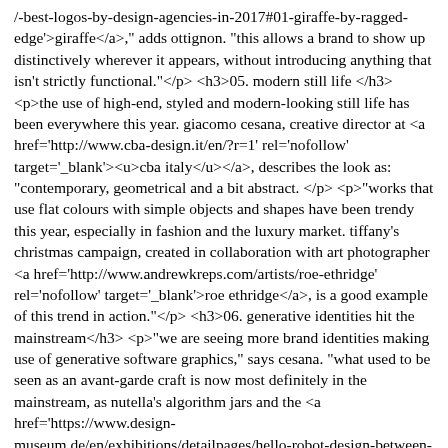/-best-logos-by-design-agencies-in-2017#01-giraffe-by-ragged-edge'>giraffe</a>," adds ottignon. "this allows a brand to show up distinctively wherever it appears, without introducing anything that isn't strictly functional."</p> <h3>05. modern still life </h3> <p>the use of high-end, styled and modern-looking still life has been everywhere this year. giacomo cesana, creative director at <a href='http://www.cba-design.it/en/?r=1' rel='nofollow' target='_blank'><u>cba italy</u></a>, describes the look as: "contemporary, geometrical and a bit abstract. </p> <p>"works that use flat colours with simple objects and shapes have been trendy this year, especially in fashion and the luxury market. tiffany's christmas campaign, created in collaboration with art photographer <a href='http://www.andrewkreps.com/artists/roe-ethridge' rel='nofollow' target='_blank'>roe ethridge</a>, is a good example of this trend in action."</p> <h3>06. generative identities hit the mainstream</h3> <p>"we are seeing more brand identities making use of generative software graphics," says cesana. "what used to be seen as an avant-garde craft is now most definitely in the mainstream, as nutella's algorithm jars and the <a href='https://www.design-museum.de/en/exhibitions/detailpages/hello-robot-design-between-human-and-machine.html' rel='nofollow' target='_blank'>hello robot catalogue</a> at the vitra design museum demonstrate."</p> <h3>07. flat graphics in packaging</h3> <p>packaging design has made a move towards simplicity in 2017, says rowena curlewis,